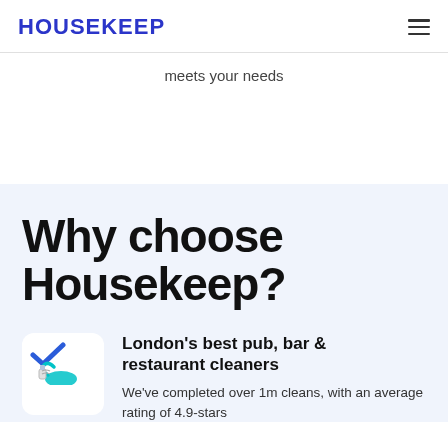HOUSEKEEP
meets your needs
Why choose Housekeep?
[Figure (illustration): White rounded square icon box with a blue checkmark at top and an illustration of a person/cleaner at the bottom]
London's best pub, bar & restaurant cleaners
We've completed over 1m cleans, with an average rating of 4.9-stars